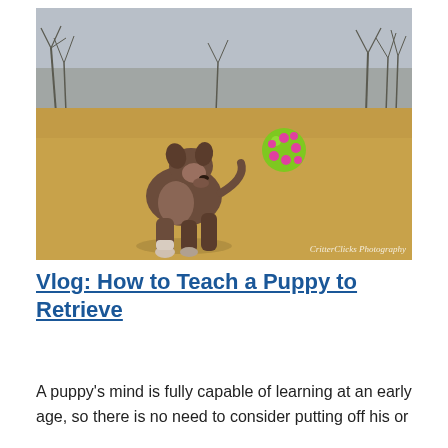[Figure (photo): A brown/grey puppy standing on a dry grass field, looking at a green rubber ball with pink dots that is mid-air in front of it. Bare trees in the background under an overcast sky. Watermark reads 'CritterClicks Photography' in the bottom-right corner.]
Vlog: How to Teach a Puppy to Retrieve
A puppy's mind is fully capable of learning at an early age, so there is no need to consider putting off his or